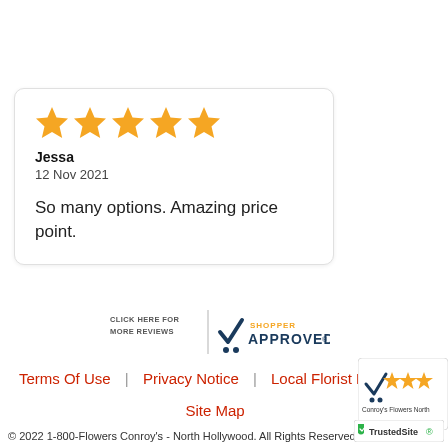[Figure (other): Five orange star rating icons]
Jessa
12 Nov 2021
So many options. Amazing price point.
[Figure (logo): Shopper Approved badge with text CLICK HERE FOR MORE REVIEWS]
Terms Of Use | Privacy Notice | Local Florist Network
Site Map
[Figure (logo): Shopper Approved rating badge for Conroy's Flowers North with orange stars]
© 2022 1-800-Flowers Conroy's - North Hollywood. All Rights Reserved.
[Figure (logo): TrustedSite logo]